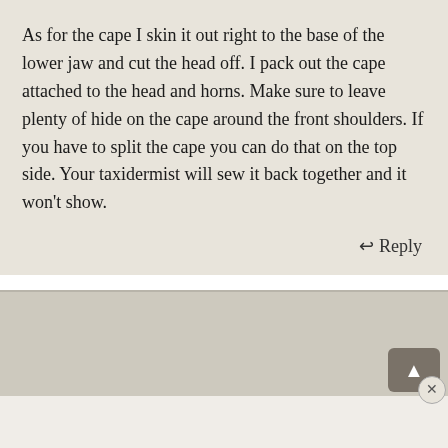As for the cape I skin it out right to the base of the lower jaw and cut the head off. I pack out the cape attached to the head and horns. Make sure to leave plenty of hide on the cape around the front shoulders. If you have to split the cape you can do that on the top side. Your taxidermist will sew it back together and it won't show.
↩ Reply